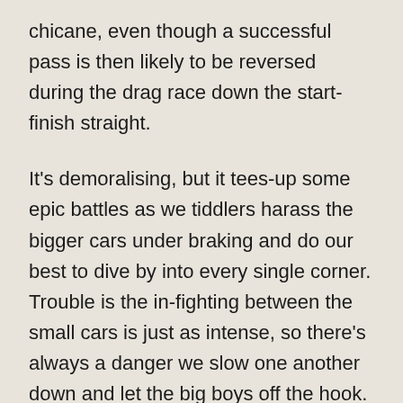chicane, even though a successful pass is then likely to be reversed during the drag race down the start-finish straight.
It's demoralising, but it tees-up some epic battles as we tiddlers harass the bigger cars under braking and do our best to dive by into every single corner. Trouble is the in-fighting between the small cars is just as intense, so there's always a danger we slow one another down and let the big boys off the hook.
Consequently there are moments when you form some unlikely alliances, in my case occasionally calling a temporary truce with Mike Jordan's A40 to try and keep